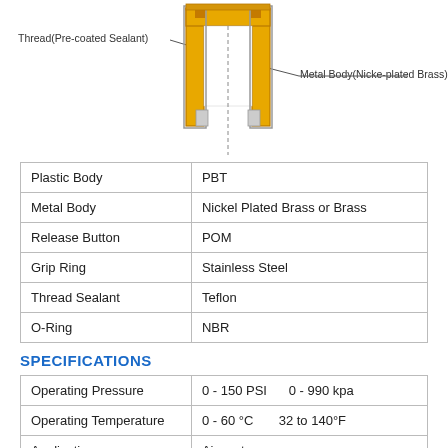[Figure (engineering-diagram): Cross-section diagram of a push-in fitting showing Thread (Pre-coated Sealant) on the left and Metal Body (Nicke-plated Brass) on the right, with a yellow plastic body in the center.]
| Plastic Body | PBT |
| Metal Body | Nickel Plated Brass or Brass |
| Release Button | POM |
| Grip Ring | Stainless Steel |
| Thread Sealant | Teflon |
| O-Ring | NBR |
SPECIFICATIONS
| Operating Pressure | 0 - 150 PSI      0 - 990 kpa |
| Operating Temperature | 0 - 60 °C        32 to 140°F |
| Application | Air, water |